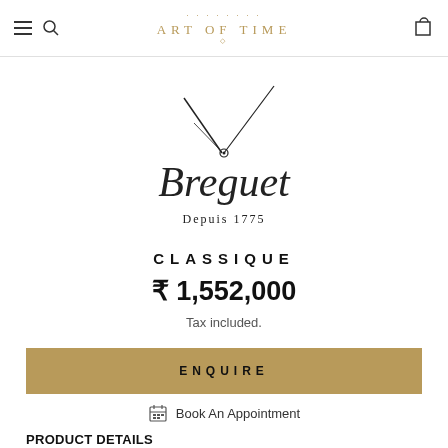ART OF TIME
[Figure (logo): Breguet brand logo with clock hands and script text 'Breguet Depuis 1775']
CLASSIQUE
₹ 1,552,000
Tax included.
ENQUIRE
Book An Appointment
PRODUCT DETAILS
Reference   5157BR/11/9V6